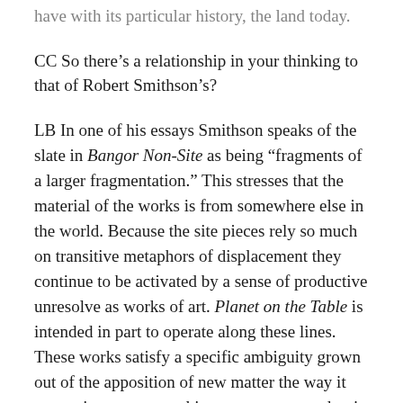have with its particular history, the land today.
CC So there’s a relationship in your thinking to that of Robert Smithson’s?
LB In one of his essays Smithson speaks of the slate in Bangor Non-Site as being “fragments of a larger fragmentation.” This stresses that the material of the works is from somewhere else in the world. Because the site pieces rely so much on transitive metaphors of displacement they continue to be activated by a sense of productive unresolve as works of art. Planet on the Table is intended in part to operate along these lines. These works satisfy a specific ambiguity grown out of the apposition of new matter the way it occurs in nature: one thing put next to another in succession, aggregated, part of flowing movement but retaining its nominal character.